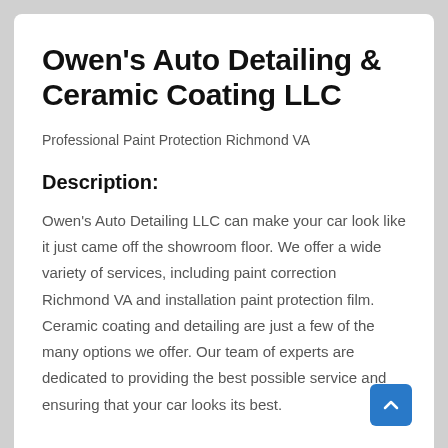Owen's Auto Detailing & Ceramic Coating LLC
Professional Paint Protection Richmond VA
Description:
Owen's Auto Detailing LLC can make your car look like it just came off the showroom floor. We offer a wide variety of services, including paint correction Richmond VA and installation paint protection film. Ceramic coating and detailing are just a few of the many options we offer. Our team of experts are dedicated to providing the best possible service and ensuring that your car looks its best.